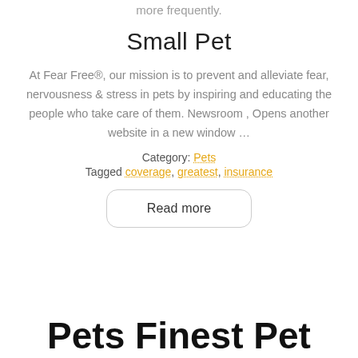more frequently.
Small Pet
At Fear Free®, our mission is to prevent and alleviate fear, nervousness & stress in pets by inspiring and educating the people who take care of them. Newsroom , Opens another website in a new window …
Category: Pets
Tagged coverage, greatest, insurance
Read more
Pets Finest Pet